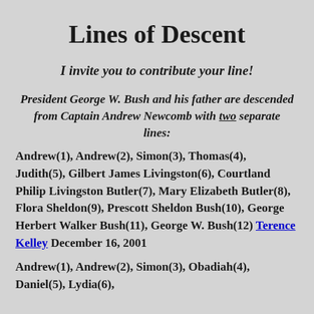Lines of Descent
I invite you to contribute your line!
President George W. Bush and his father are descended from Captain Andrew Newcomb with two separate lines:
Andrew(1), Andrew(2), Simon(3), Thomas(4), Judith(5), Gilbert James Livingston(6), Courtland Philip Livingston Butler(7), Mary Elizabeth Butler(8), Flora Sheldon(9), Prescott Sheldon Bush(10), George Herbert Walker Bush(11), George W. Bush(12) Terence Kelley December 16, 2001
Andrew(1), Andrew(2), Simon(3), Obadiah(4), Daniel(5), Lydia(6),